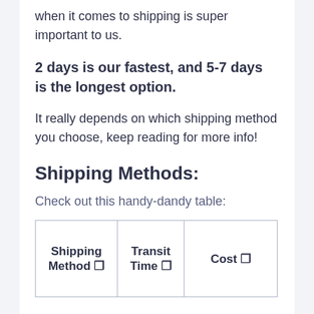when it comes to shipping is super important to us.
2 days is our fastest, and 5-7 days is the longest option.
It really depends on which shipping method you choose, keep reading for more info!
Shipping Methods:
Check out this handy-dandy table:
| Shipping Method ↕ | Transit Time ↕ | Cost ↕ |
| --- | --- | --- |